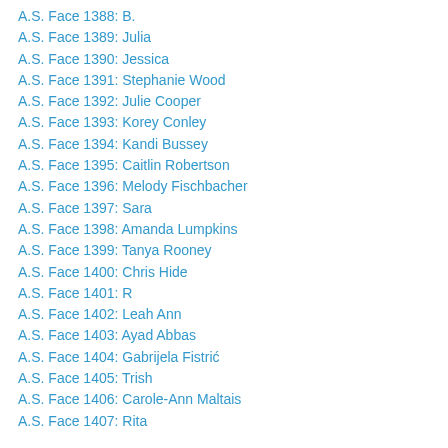A.S. Face 1388: B.
A.S. Face 1389: Julia
A.S. Face 1390: Jessica
A.S. Face 1391: Stephanie Wood
A.S. Face 1392: Julie Cooper
A.S. Face 1393: Korey Conley
A.S. Face 1394: Kandi Bussey
A.S. Face 1395: Caitlin Robertson
A.S. Face 1396: Melody Fischbacher
A.S. Face 1397: Sara
A.S. Face 1398: Amanda Lumpkins
A.S. Face 1399: Tanya Rooney
A.S. Face 1400: Chris Hide
A.S. Face 1401: R
A.S. Face 1402: Leah Ann
A.S. Face 1403: Ayad Abbas
A.S. Face 1404: Gabrijela Fistrić
A.S. Face 1405: Trish
A.S. Face 1406: Carole-Ann Maltais
A.S. Face 1407: Rita